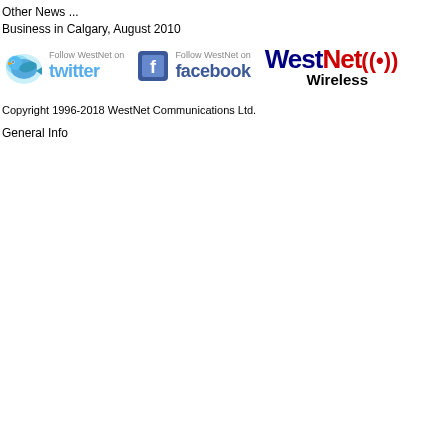Other News ...
Business in Calgary, August 2010
[Figure (logo): Follow WestNet on Twitter logo with bird icon and stylized 'twitter' text in light blue]
[Figure (logo): Follow WestNet on Facebook logo with book icon and stylized 'facebook' text in dark blue]
[Figure (logo): WestNet Wireless logo with 'WestNet' in blue/red and wireless signal icon, 'Wireless' in black below]
Copyright 1996-2018 WestNet Communications Ltd.
General Info